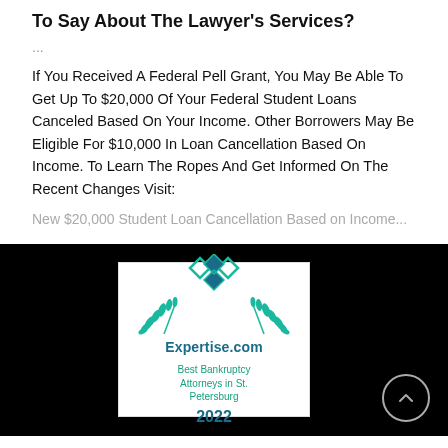To Say About The Lawyer's Services?
...
If You Received A Federal Pell Grant, You May Be Able To Get Up To $20,000 Of Your Federal Student Loans Canceled Based On Your Income. Other Borrowers May Be Eligible For $10,000 In Loan Cancellation Based On Income. To Learn The Ropes And Get Informed On The Recent Changes Visit:
New $20,000 Student Loan Cancellation Based on Income...
[Figure (logo): Expertise.com badge: Best Bankruptcy Attorneys in St. Petersburg, 2022, with teal diamond logo and laurel wreath]